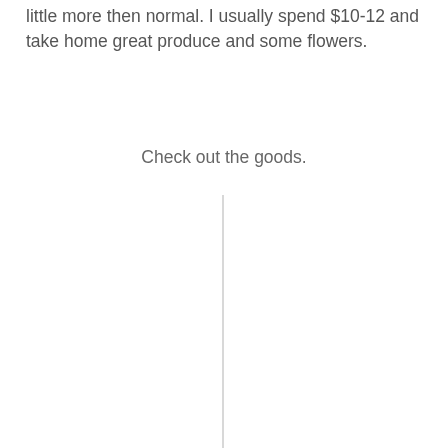little more then normal. I usually spend $10-12 and take home great produce and some flowers.
Check out the goods.
[Figure (other): A vertical light gray line running from below the 'Check out the goods.' text to the bottom of the page, positioned near the horizontal center of the page.]